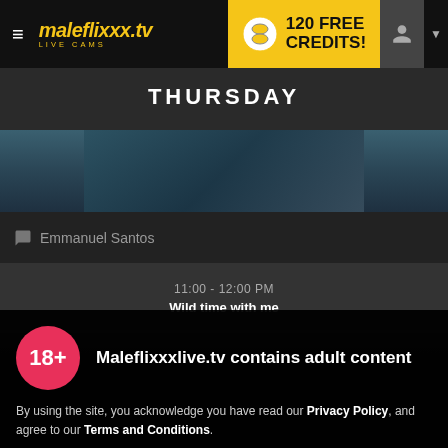maleflixxx.tv LIVE CAMS | 120 FREE CREDITS!
THURSDAY
Emmanuel Santos
11:00 - 12:00 PM
Wild time with me
Maleflixxxlive.tv contains adult content
By using the site, you acknowledge you have read our Privacy Policy, and agree to our Terms and Conditions.
We use cookies to optimize your experience, analyze traffic, and deliver more personalized service. To learn more, please see our Privacy Policy.
I AGREE